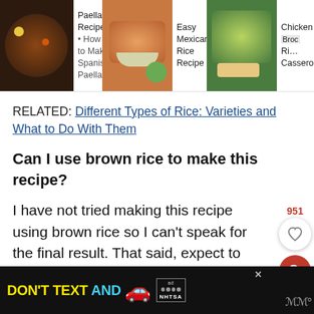[Figure (screenshot): Navigation bar with three recipe thumbnail links: Paella Recipe, Easy Mexican Rice Recipe, and Chicken Broccoli Casserole]
RELATED: Different Types of Rice: Varieties and What to Do With Them
Can I use brown rice to make this recipe?
I have not tried making this recipe using brown rice so I can't speak for the final result. That said, expect to increase the total cook time by
[Figure (screenshot): Advertisement banner: DON'T TEXT AND [car emoji] with ad badge and NHTSA logo]
[Figure (other): Like button with count 951 and search button on the right sidebar]